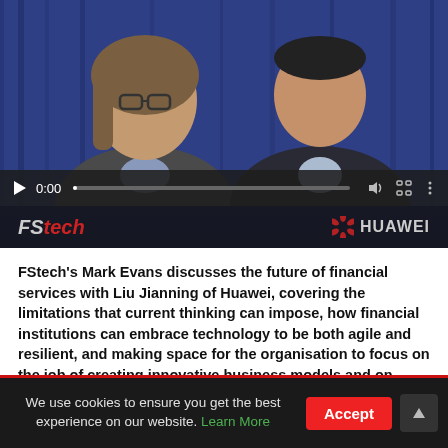[Figure (screenshot): Video player showing two men (one European with glasses and shoulder-length hair in a grey suit, one Asian in a dark suit) standing in front of a blue curtain backdrop. Video controls bar shows 0:00 timestamp. Bottom of video shows FStech logo on left and Huawei logo on right.]
FStech's Mark Evans discusses the future of financial services with Liu Jianning of Huawei, covering the limitations that current thinking can impose, how financial institutions can embrace technology to be both agile and resilient, and making space for the organisation to focus on the job of creating innovative business models and on delivering business value for their customers.
We use cookies to ensure you get the best experience on our website. Learn More Accept